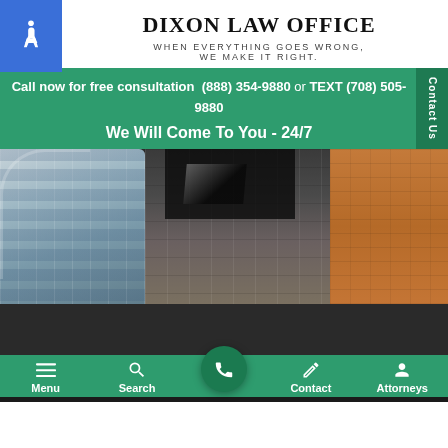DIXON LAW OFFICE
WHEN EVERYTHING GOES WRONG, WE MAKE IT RIGHT.
Call now for free consultation (888) 354-9880 or TEXT (708) 505-9880
We Will Come To You - 24/7
[Figure (photo): Building facade with fire damage showing broken windows, curved modern building on left and brick building on right]
Menu | Search | Contact | Attorneys